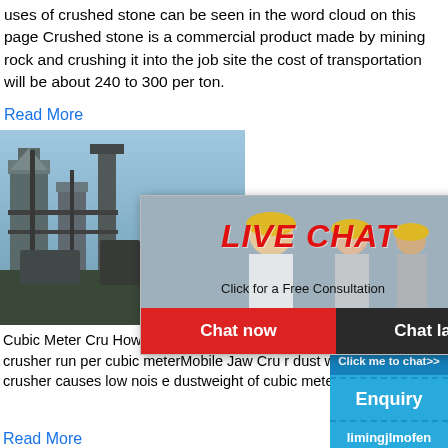uses of crushed stone can be seen in the word cloud on this page Crushed stone is a commercial product made by mining rock and crushing it into the job site the cost of transportation will be about 240 to 300 per ton.
Read More
[Figure (photo): Factory/industrial plant with large equipment and silos]
[Figure (screenshot): Live chat popup overlay with workers in hard hats, LIVE CHAT title in red, subtitle 'Click for a Free Consultation', Chat now and Chat later buttons]
[Figure (photo): Right sidebar with blue background showing a cone crusher machine, hour online text, Click me to chat>> button, Enquiry button, and limingjlmofen text]
Cubic Meter Cru... How Many Ton Crusher Run Per Cubic Me... to calculate crusher aggregate in to cubic met... crusher run per cubic meterMobile Jaw Cru... r dust weight per cft Crusher Manufacturer is... stone crusher Jaw crusher causes low nois... e dustweight of cubic meter of crusher dust 6... er Dry sand .
Read More